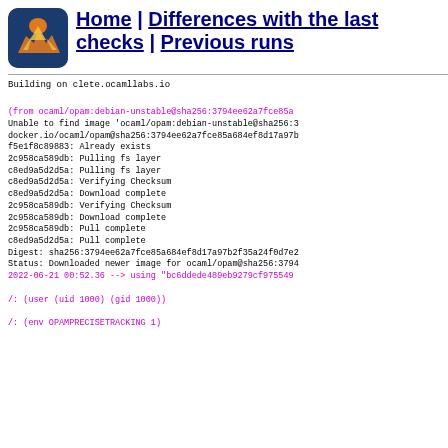Home | Differences with the last checks | Previous runs
Building on clete.ocamllabs.io

(from ocaml/opam:debian-unstable@sha256:3794ee62a7fce85a...
Unable to find image 'ocaml/opam:debian-unstable@sha256:3...
docker.io/ocaml/opam@sha256:3794ee62a7fce85a684ef8d17a97b...
f5e1f8c89883: Already exists
2c958ca589db: Pulling fs layer
c8ed9a5d2d5a: Pulling fs layer
c8ed9a5d2d5a: Verifying Checksum
c8ed9a5d2d5a: Download complete
2c958ca589db: Verifying Checksum
2c958ca589db: Download complete
2c958ca589db: Pull complete
c8ed9a5d2d5a: Pull complete
Digest: sha256:3794ee62a7fce85a684ef8d17a97b2f35a24f0d7e2...
Status: Downloaded newer image for ocaml/opam@sha256:3794...
2022-06-21 00:52.36 --> using "bc6ddede489eb9279cf975549...

/: (user (uid 1000) (gid 1000))

/: (env OPAMPRECISETRACKING 1)